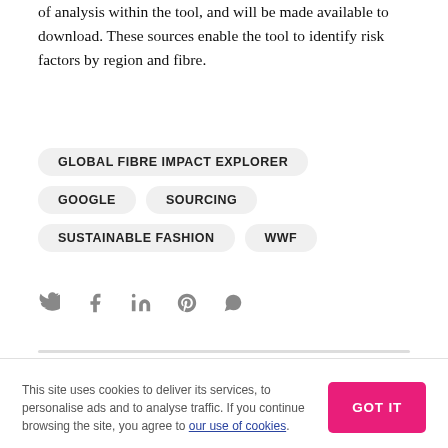of analysis within the tool, and will be made available to download. These sources enable the tool to identify risk factors by region and fibre.
GLOBAL FIBRE IMPACT EXPLORER
GOOGLE
SOURCING
SUSTAINABLE FASHION
WWF
[Figure (infographic): Social sharing icons: Twitter, Facebook, LinkedIn, Pinterest, WhatsApp]
This site uses cookies to deliver its services, to personalise ads and to analyse traffic. If you continue browsing the site, you agree to our use of cookies.